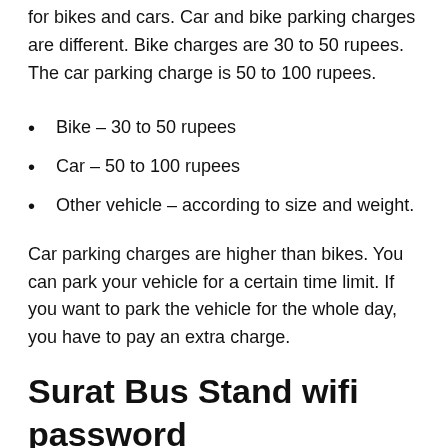for bikes and cars. Car and bike parking charges are different. Bike charges are 30 to 50 rupees. The car parking charge is 50 to 100 rupees.
Bike – 30 to 50 rupees
Car – 50 to 100 rupees
Other vehicle – according to size and weight.
Car parking charges are higher than bikes. You can park your vehicle for a certain time limit. If you want to park the vehicle for the whole day, you have to pay an extra charge.
Surat Bus Stand wifi password
Free wifi facility has been provided by the Gujarat government at all bus stands. You can use the bus stand in wifi for...